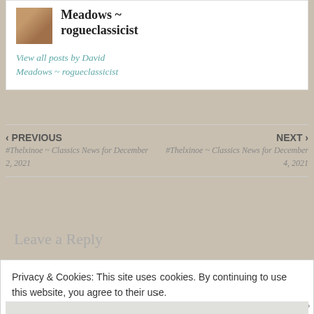Meadows ~ rogueclassicist
View all posts by David Meadows ~ rogueclassicist
‹ PREVIOUS
#Thelxinoe ~ Classics News for December 2, 2021
NEXT ›
#Thelxinoe ~ Classics News for December 4, 2021
Leave a Reply
Privacy & Cookies: This site uses cookies. By continuing to use this website, you agree to their use. To find out more, including how to control cookies, see here: Cookie Policy
Close and accept